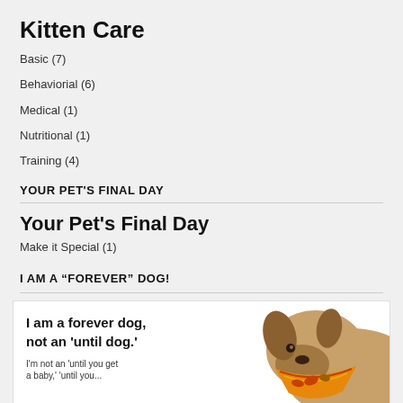Kitten Care
Basic (7)
Behaviorial (6)
Medical (1)
Nutritional (1)
Training (4)
YOUR PET'S FINAL DAY
Your Pet's Final Day
Make it Special (1)
I AM A “FOREVER” DOG!
[Figure (photo): A dog wearing a colorful bandana with text overlay: 'I am a forever dog, not an until dog.' and smaller text 'I'm not an until you get...']